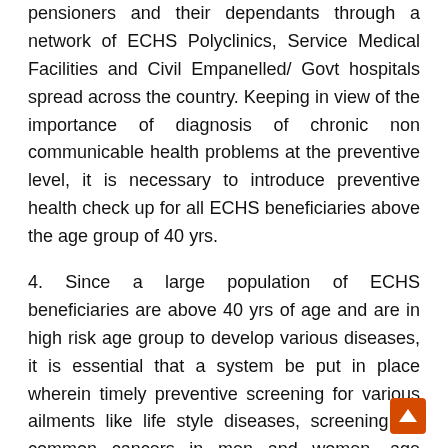pensioners and their dependants through a network of ECHS Polyclinics, Service Medical Facilities and Civil Empanelled/ Govt hospitals spread across the country. Keeping in view of the importance of diagnosis of chronic non communicable health problems at the preventive level, it is necessary to introduce preventive health check up for all ECHS beneficiaries above the age group of 40 yrs.
4. Since a large population of ECHS beneficiaries are above 40 yrs of age and are in high risk age group to develop various diseases, it is essential that a system be put in place wherein timely preventive screening for various ailments like life style diseases, screening for common cancers in men and women, age related ailments etc may be done. This aids in early detection, monitoring, mgmt and follow up of most of the common ailments besides being cost effective in long term.